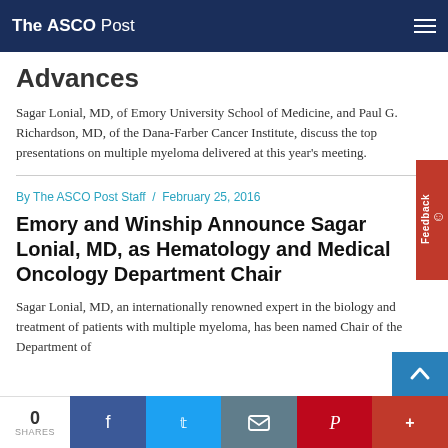The ASCO Post
Advances
Sagar Lonial, MD, of Emory University School of Medicine, and Paul G. Richardson, MD, of the Dana-Farber Cancer Institute, discuss the top presentations on multiple myeloma delivered at this year's meeting.
By The ASCO Post Staff  /  February 25, 2016
Emory and Winship Announce Sagar Lonial, MD, as Hematology and Medical Oncology Department Chair
Sagar Lonial, MD, an internationally renowned expert in the biology and treatment of patients with multiple myeloma, has been named Chair of the Department of Hematology and Medical Oncology within Emory...
0 SHARES